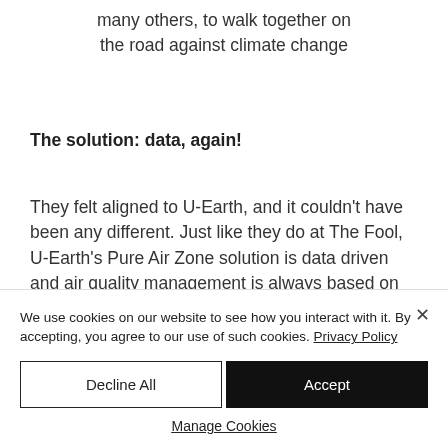many others, to walk together on the road against climate change
The solution: data, again!
They felt aligned to U-Earth, and it couldn't have been any different. Just like they do at The Fool, U-Earth's Pure Air Zone solution is data driven and air quality management is always based on metrics and measurements. We both
We use cookies on our website to see how you interact with it. By accepting, you agree to our use of such cookies. Privacy Policy
Decline All
Accept
Manage Cookies